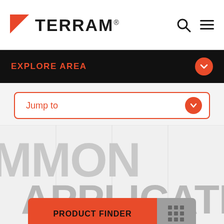[Figure (logo): TERRAM logo with red triangle and bold text]
EXPLORE AREA
Jump to
[Figure (screenshot): Background with large grey text showing 'MMON APPLICATIONS']
PRODUCT FINDER